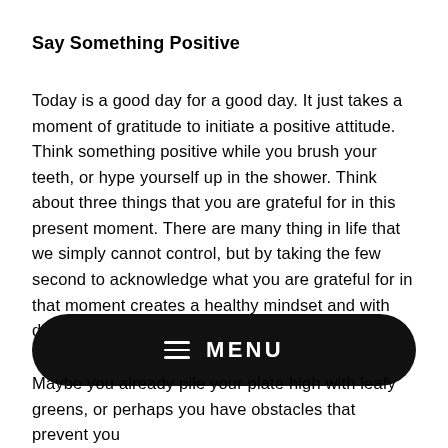Say Something Positive
Today is a good day for a good day. It just takes a moment of gratitude to initiate a positive attitude. Think something positive while you brush your teeth, or hype yourself up in the shower. Think about three things that you are grateful for in this present moment. There are many thing in life that we simply cannot control, but by taking the few second to acknowledge what you are grateful for in that moment creates a healthy mindset and with daily practice, can help to decrease some stress.
[Figure (other): Black pill-shaped MENU button with hamburger icon and text 'MENU' in white on dark background]
Maybe you already pile your plate high with leafy greens, or perhaps you have obstacles that prevent you